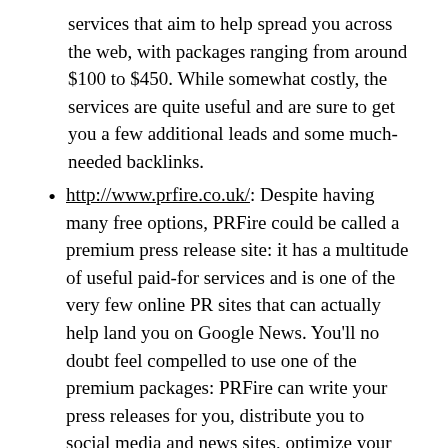services that aim to help spread you across the web, with packages ranging from around $100 to $450. While somewhat costly, the services are quite useful and are sure to get you a few additional leads and some much-needed backlinks.
http://www.prfire.co.uk/: Despite having many free options, PRFire could be called a premium press release site: it has a multitude of useful paid-for services and is one of the very few online PR sites that can actually help land you on Google News. You'll no doubt feel compelled to use one of the premium packages: PRFire can write your press releases for you, distribute you to social media and news sites, optimize your keywords for better search engine productivity and much more. If you really need to get the most out of your online press release, you won't go wrong by using this website as the main